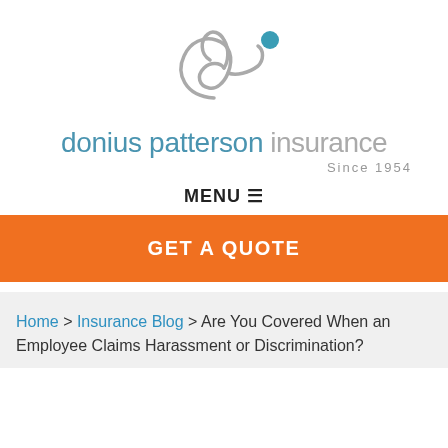[Figure (logo): Donius Patterson Insurance logo: stylized cursive 'd' with a teal dot above, forming an abstract figure]
donius patterson insurance Since 1954
MENU ☰
GET A QUOTE
Home > Insurance Blog > Are You Covered When an Employee Claims Harassment or Discrimination?